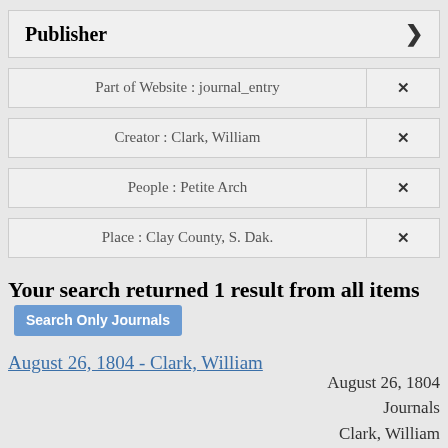Publisher
Part of Website : journal_entry
Creator : Clark, William
People : Petite Arch
Place : Clay County, S. Dak.
Your search returned 1 result from all items Search Only Journals
August 26, 1804 - Clark, William
August 26, 1804
Journals
Clark, William